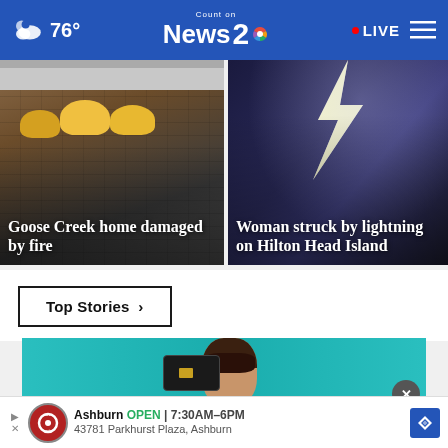76° | Count on News 2 NBC | LIVE
[Figure (photo): Firefighters at a home — Goose Creek home damaged by fire]
[Figure (photo): Lightning strike at night — Woman struck by lightning on Hilton Head Island]
Top Stories ›
[Figure (photo): Woman holding a credit card in front of her face against a teal background — advertisement area]
Ashburn OPEN | 7:30AM–6PM
43781 Parkhurst Plaza, Ashburn